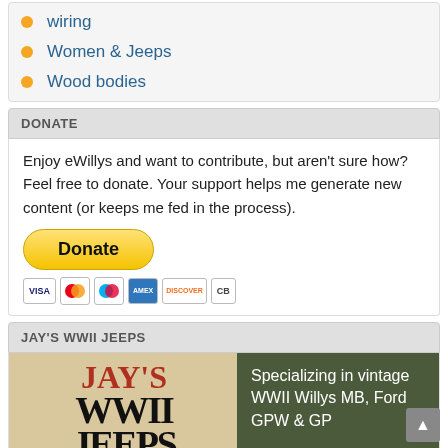wiring
Women & Jeeps
Wood bodies
DONATE
Enjoy eWillys and want to contribute, but aren't sure how? Feel free to donate. Your support helps me generate new content (or keeps me fed in the process).
[Figure (other): PayPal Donate button with payment card icons (Visa, MasterCard, Maestro, American Express, Discover, CB)]
JAY'S WWII JEEPS
[Figure (illustration): Jay's WWII Jeeps advertisement banner showing logo text and 'Specializing in vintage WWII Willys MB, Ford GPW & GP' with website www.jaysww2jeeps.com and phone 1-844-WW2-JEEP]